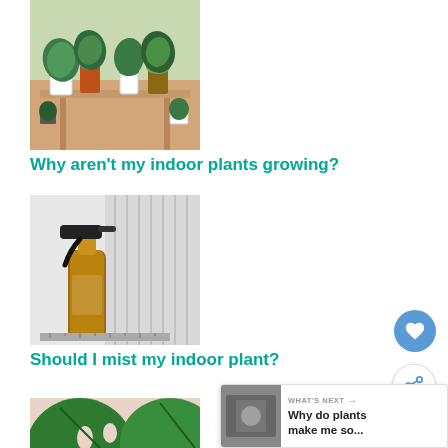[Figure (photo): Photo of multiple indoor potted plants on a wooden shelf/rack]
Why aren't my indoor plants growing?
[Figure (photo): Photo of an amber glass spray bottle with black trigger sprayer against a white background with radiator]
Should I mist my indoor plant?
[Figure (photo): Close-up photo of large green tropical leaves]
[Figure (screenshot): WHAT'S NEXT widget showing thumbnail and text: Why do plants make me so...]